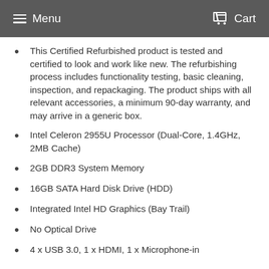Menu  Cart
This Certified Refurbished product is tested and certified to look and work like new. The refurbishing process includes functionality testing, basic cleaning, inspection, and repackaging. The product ships with all relevant accessories, a minimum 90-day warranty, and may arrive in a generic box.
Intel Celeron 2955U Processor (Dual-Core, 1.4GHz, 2MB Cache)
2GB DDR3 System Memory
16GB SATA Hard Disk Drive (HDD)
Integrated Intel HD Graphics (Bay Trail)
No Optical Drive
4 x USB 3.0, 1 x HDMI, 1 x Microphone-in